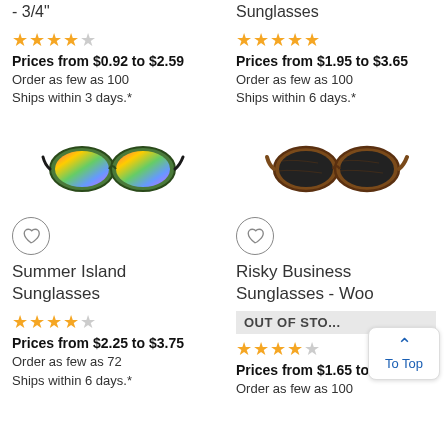- 3/4"
Sunglasses
★★★★☆  4 stars
★★★★★  5 stars
Prices from $0.92 to $2.59
Prices from $1.95 to $3.65
Order as few as 100
Ships within 3 days.*
Order as few as 100
Ships within 6 days.*
[Figure (photo): Colorful rainbow lens sunglasses with dark frames - Summer Island Sunglasses]
[Figure (photo): Brown wood-style sunglasses with dark lenses - Risky Business Sunglasses Wood]
Summer Island Sunglasses
Risky Business Sunglasses - Woo...
★★★★☆  4 stars
OUT OF STOCK
★★★★☆  4 stars
Prices from $2.25 to $3.75
Prices from $1.65 to $2.84
Order as few as 72
Ships within 6 days.*
Order as few as 100